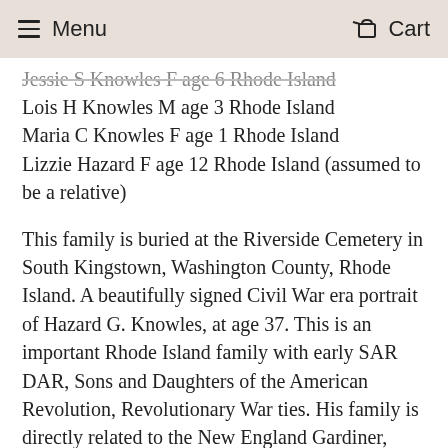Menu  Cart
Jessie S Knowles F age 6 Rhode Island
Lois H Knowles M age 3 Rhode Island
Maria C Knowles F age 1 Rhode Island
Lizzie Hazard F age 12 Rhode Island (assumed to be a relative)
This family is buried at the Riverside Cemetery in South Kingstown, Washington County, Rhode Island. A beautifully signed Civil War era portrait of Hazard G. Knowles, at age 37. This is an important Rhode Island family with early SAR DAR, Sons and Daughters of the American Revolution, Revolutionary War ties. His family is directly related to the New England Gardiner, Knowles, Stanton and Hazard family genealogy. Found in Brentwood, Contra Costa County, California.